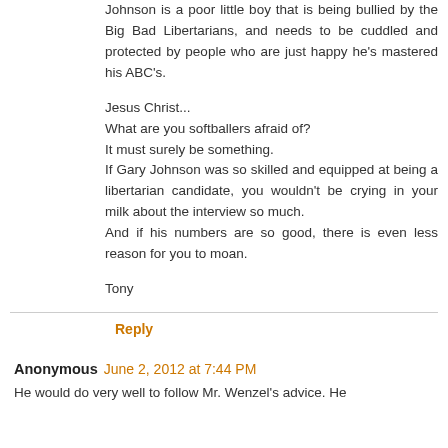Johnson is a poor little boy that is being bullied by the Big Bad Libertarians, and needs to be cuddled and protected by people who are just happy he's mastered his ABC's.

Jesus Christ...
What are you softballers afraid of?
It must surely be something.
If Gary Johnson was so skilled and equipped at being a libertarian candidate, you wouldn't be crying in your milk about the interview so much.
And if his numbers are so good, there is even less reason for you to moan.

Tony
Reply
Anonymous June 2, 2012 at 7:44 PM
He would do very well to follow Mr. Wenzel's advice. He